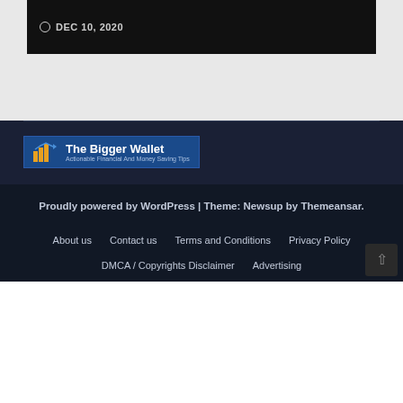DEC 10, 2020
[Figure (logo): The Bigger Wallet logo - Actionable Financial And Money Saving Tips]
Proudly powered by WordPress | Theme: Newsup by Themeansar.
About us
Contact us
Terms and Conditions
Privacy Policy
DMCA / Copyrights Disclaimer
Advertising